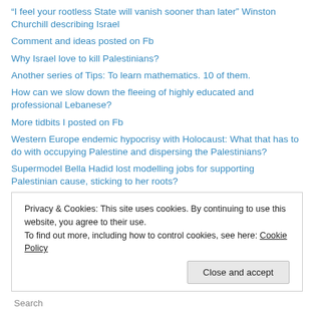“I feel your rootless State will vanish sooner than later” Winston Churchill describing Israel
Comment and ideas posted on Fb
Why Israel love to kill Palestinians?
Another series of Tips: To learn mathematics. 10 of them.
How can we slow down the fleeing of highly educated and professional Lebanese?
More tidbits I posted on Fb
Western Europe endemic hypocrisy with Holocaust: What that has to do with occupying Palestine and dispersing the Palestinians?
Supermodel Bella Hadid lost modelling jobs for supporting Palestinian cause, sticking to her roots?
A poem by Unsi Haj when Lebanon was relatively prosperous and at
Privacy & Cookies: This site uses cookies. By continuing to use this website, you agree to their use.
To find out more, including how to control cookies, see here: Cookie Policy
Close and accept
Search